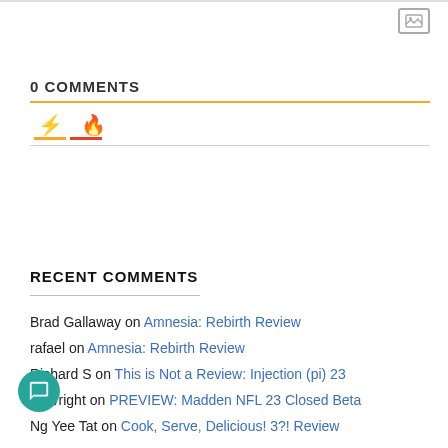0 COMMENTS
RECENT COMMENTS
Brad Gallaway on Amnesia: Rebirth Review
rafael on Amnesia: Rebirth Review
Richard S on This is Not a Review: Injection (pi) 23
nWright on PREVIEW: Madden NFL 23 Closed Beta
Ng Yee Tat on Cook, Serve, Delicious! 3?! Review